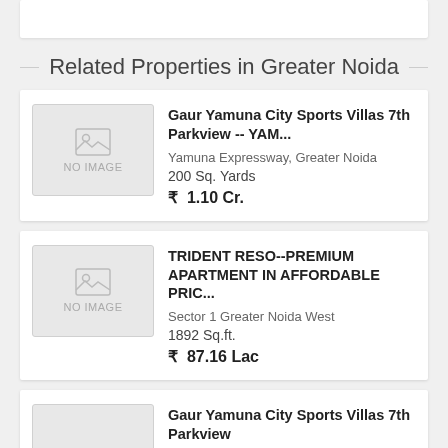[Figure (other): Top partial white card at top of page]
Related Properties in Greater Noida
Gaur Yamuna City Sports Villas 7th Parkview -- YAM...
Yamuna Expressway, Greater Noida
200 Sq. Yards
₹ 1.10 Cr.
TRIDENT RESO--PREMIUM APARTMENT IN AFFORDABLE PRIC...
Sector 1 Greater Noida West
1892 Sq.ft.
₹ 87.16 Lac
Gaur Yamuna City Sports Villas 7th Parkview --YM...